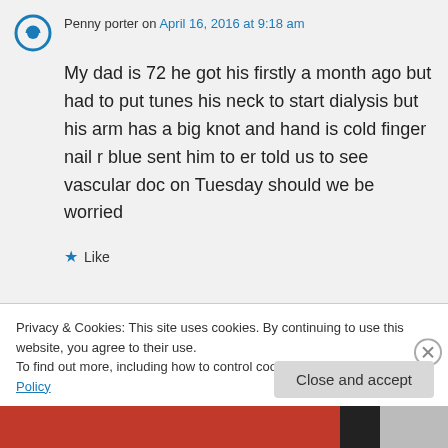Penny porter on April 16, 2016 at 9:18 am
My dad is 72 he got his firstly a month ago but had to put tunes his neck to start dialysis but his arm has a big knot and hand is cold finger nail r blue sent him to er told us to see vascular doc on Tuesday should we be worried
Like
Privacy & Cookies: This site uses cookies. By continuing to use this website, you agree to their use.
To find out more, including how to control cookies, see here: Cookie Policy